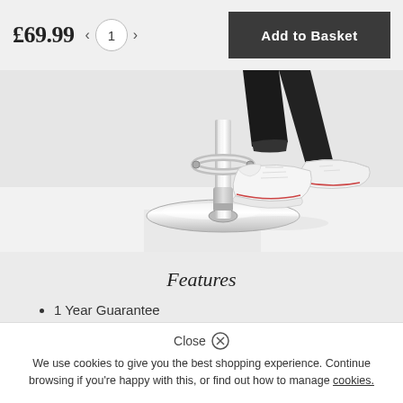£69.99
1
Add to Basket
[Figure (photo): Close-up photo of a bar stool base — chrome pedestal and circular chrome base with a footrest ring, with a person's feet wearing white Converse sneakers and black jeans resting on the footrest, on a white background.]
Features
1 Year Guarantee
Close
We use cookies to give you the best shopping experience. Continue browsing if you're happy with this, or find out how to manage cookies.